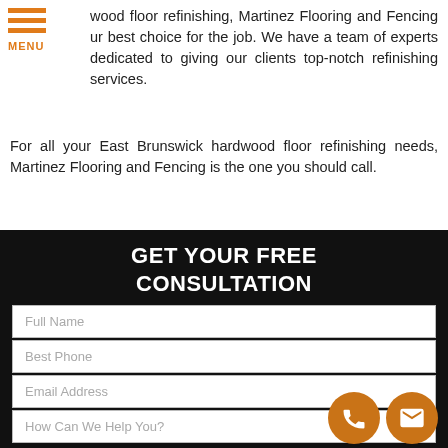MENU
wood floor refinishing, Martinez Flooring and Fencing ur best choice for the job. We have a team of experts dedicated to giving our clients top-notch refinishing services.
For all your East Brunswick hardwood floor refinishing needs, Martinez Flooring and Fencing is the one you should call.
Call Martinez Flooring and Fencing at (201) 529-6003 for your Free Consultation!
[Figure (other): Contact form with black background titled GET YOUR FREE CONSULTATION with input fields: Full Name, Best Phone, Email Address, How Can We Help You?, and two orange circular contact icons (phone and email) overlaid at bottom right.]